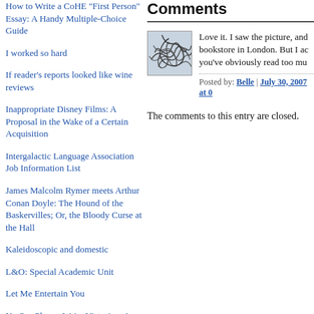How to Write a CoHE "First Person" Essay: A Handy Multiple-Choice Guide
I worked so hard
If reader's reports looked like wine reviews
Inappropriate Disney Films: A Proposal in the Wake of a Certain Acquisition
Intergalactic Language Association Job Information List
James Malcolm Rymer meets Arthur Conan Doyle: The Hound of the Baskervilles; Or, the Bloody Curse at the Hall
Kaleidoscopic and domestic
L&O: Special Academic Unit
Let Me Entertain You
No Sex Please, We're Victorian: A Handy-Dandy Guide to Code Words
On a slightly different literary note: Dick Delver
Comments
[Figure (illustration): Abstract scribble avatar image for commenter Belle]
Love it. I saw the picture, and bookstore in London. But I ac you've obviously read too mu
Posted by: Belle | July 30, 2007 at 0
The comments to this entry are closed.